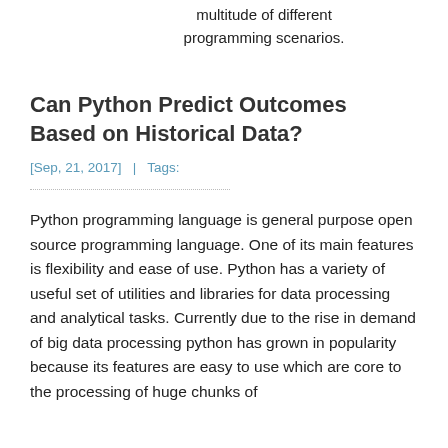multitude of different programming scenarios.
Can Python Predict Outcomes Based on Historical Data?
[Sep, 21, 2017]   |   Tags:
Python programming language is general purpose open source programming language. One of its main features is flexibility and ease of use. Python has a variety of useful set of utilities and libraries for data processing and analytical tasks. Currently due to the rise in demand of big data processing python has grown in popularity because its features are easy to use which are core to the processing of huge chunks of